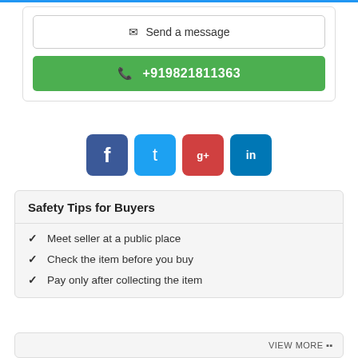[Figure (screenshot): Send a message button (outlined) and phone button (+919821811363, green)]
[Figure (infographic): Social media share buttons: Facebook (dark blue), Twitter (light blue), Google+ (red), LinkedIn (blue)]
Safety Tips for Buyers
Meet seller at a public place
Check the item before you buy
Pay only after collecting the item
VIEW MORE